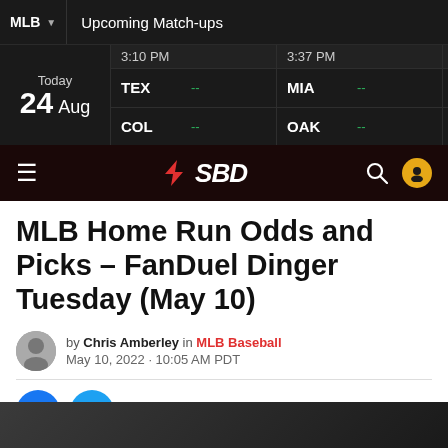MLB  Upcoming Match-ups
| Date | Time | Team1 | Score1 | Team2 | Score2 |
| --- | --- | --- | --- | --- | --- |
| Today 24 Aug | 3:10 PM | TEX | -- | COL | -- |
| Today 24 Aug | 3:37 PM | MIA | -- | OAK | -- |
| Today 24 Aug | 4:... | CL... | -- | SD... | -- |
[Figure (logo): SBD sports betting website logo with red lightning bolt icon and white SBD text on dark red background]
MLB Home Run Odds and Picks – FanDuel Dinger Tuesday (May 10)
by Chris Amberley in MLB Baseball
May 10, 2022 · 10:05 AM PDT
[Figure (photo): Baseball player photo, partially visible at bottom of page]